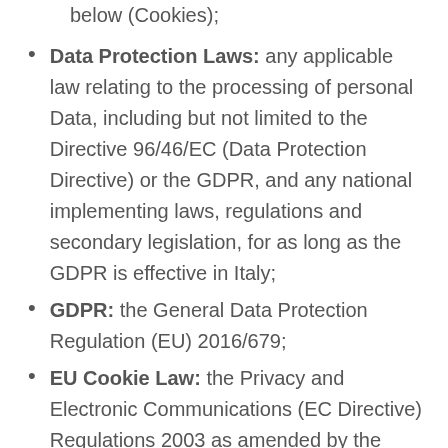below (Cookies);
Data Protection Laws: any applicable law relating to the processing of personal Data, including but not limited to the Directive 96/46/EC (Data Protection Directive) or the GDPR, and any national implementing laws, regulations and secondary legislation, for as long as the GDPR is effective in Italy;
GDPR: the General Data Protection Regulation (EU) 2016/679;
EU Cookie Law: the Privacy and Electronic Communications (EC Directive) Regulations 2003 as amended by the Privacy and Electronic Communications (EC Directive) (Amendment) Regulations 2011;
User or you: any third party that accesses the Website and is not either (i) employed by Matrice Di Seno, acting in the course of their...